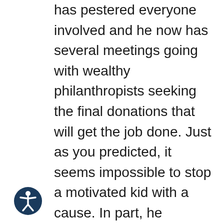has pestered everyone involved and he now has several meetings going with wealthy philanthropists seeking the final donations that will get the job done. Just as you predicted, it seems impossible to stop a motivated kid with a cause. In part, he influenced the Mayor to push for a significant donation by the city that enabled the design to be contracted out. It is under design now. If CJ and others pushing this effort are successful in securing the final funding, the construction phase will break ground in the fall. I believe that will be the outcome. CJ really got fired up after your e-mail and I can say in that regard, we have you to thank for inspiring
[Figure (illustration): Accessibility icon — a circular dark blue button with a white stylized person figure (arms outstretched) in the center, representing a universal accessibility symbol.]